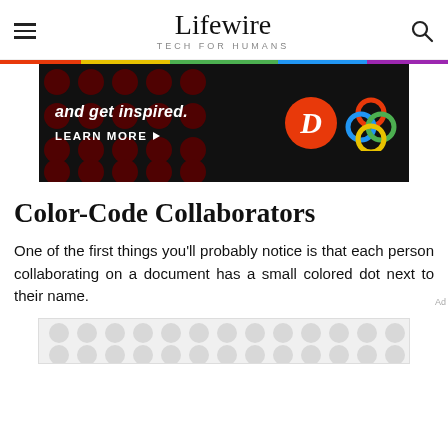Lifewire TECH FOR HUMANS
[Figure (photo): Dark advertisement banner with 'and get inspired.' text, 'LEARN MORE' button, a red circular D logo, and a colorful interlocking circles logo on black background with dark red dot pattern]
Color-Code Collaborators
One of the first things you'll probably notice is that each person collaborating on a document has a small colored dot next to their name.
[Figure (photo): Partially visible advertisement with grey dot/circle pattern on white/grey background]